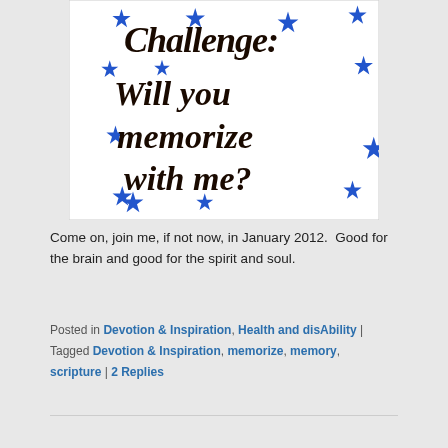[Figure (illustration): Decorative image with handwritten-style dark brown text reading 'Challenge: Will you memorize with me?' surrounded by blue stars on a white background.]
Come on, join me, if not now, in January 2012.  Good for the brain and good for the spirit and soul.
Posted in Devotion & Inspiration, Health and disAbility | Tagged Devotion & Inspiration, memorize, memory, scripture | 2 Replies